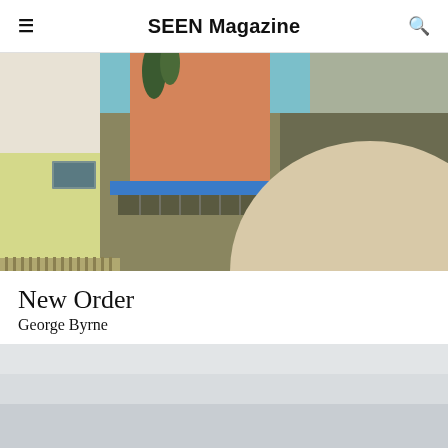SEEN Magazine
[Figure (photo): Architectural photograph showing colorful building facades with geometric forms — pale yellow, beige, orange/terracotta, and sage green panels, a bright blue horizontal stripe, a large cream semicircle, clerestory windows, and cypress trees under a blue sky.]
New Order
George Byrne
[Figure (photo): Partially visible second photograph with a muted grey-white sky or overcast scene, cropped at the bottom of the page.]